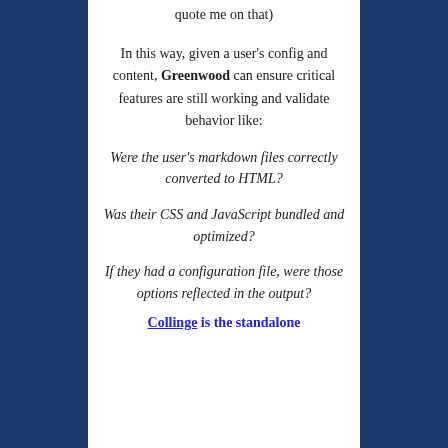quote me on that)
In this way, given a user's config and content, Greenwood can ensure critical features are still working and validate behavior like:
Were the user's markdown files correctly converted to HTML?
Was their CSS and JavaScript bundled and optimized?
If they had a configuration file, were those options reflected in the output?
Collinge is the standalone